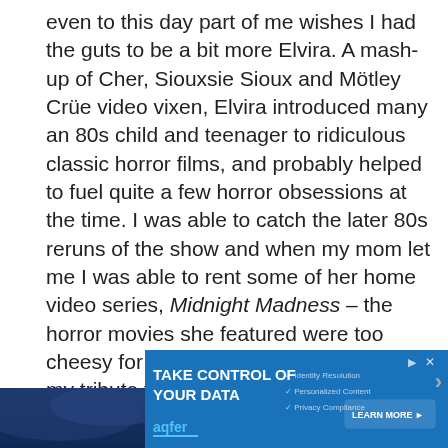even to this day part of me wishes I had the guts to be a bit more Elvira. A mash-up of Cher, Siouxsie Sioux and Mötley Crüe video vixen, Elvira introduced many an 80s child and teenager to ridiculous classic horror films, and probably helped to fuel quite a few horror obsessions at the time. I was able to catch the later 80s reruns of the show and when my mom let me I was able to rent some of her home video series, Midnight Madness – the horror movies she featured were too cheesy for my mom to protest. Below is my tribute to one of my 80s idols, plus a few clips from her VHS series! Unpleasant dreams…
[Figure (photo): Dark night sky scene with a bright moon and dark clouds, partial video player interface visible]
[Figure (screenshot): Advertisement banner: TAKE CONTROL OF YOUR DATA with aqfer logo, identity resolution, personalized content, privacy compliance, and LEARN MORE button]